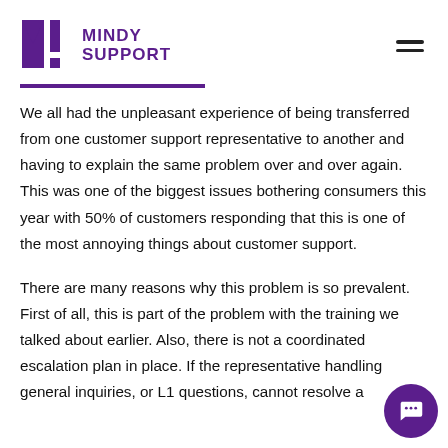MINDY SUPPORT
We all had the unpleasant experience of being transferred from one customer support representative to another and having to explain the same problem over and over again. This was one of the biggest issues bothering consumers this year with 50% of customers responding that this is one of the most annoying things about customer support.
There are many reasons why this problem is so prevalent. First of all, this is part of the problem with the training we talked about earlier. Also, there is not a coordinated escalation plan in place. If the representative handling general inquiries, or L1 questions, cannot resolve a